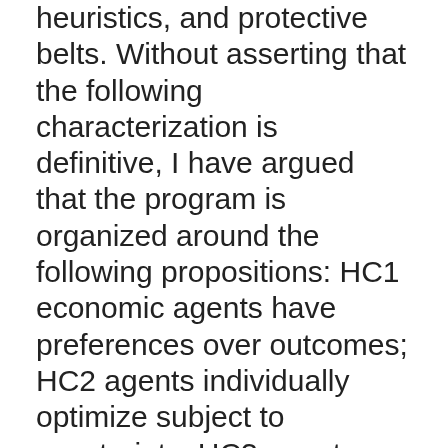heuristics, and protective belts. Without asserting that the following characterization is definitive, I have argued that the program is organized around the following propositions: HC1 economic agents have preferences over outcomes; HC2 agents individually optimize subject to constraints; HC3 agent choice is manifest in interrelated markets; HC4 agents have full relevant knowledge; HC5 observable outcomes are coordinated, and must be discussed with reference to equilibrium states. By definition, the hard-core